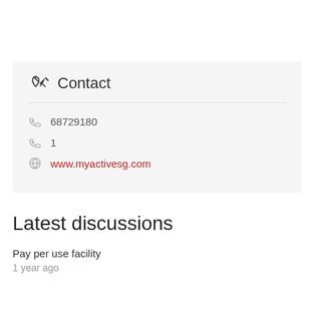Contact
68729180
1
www.myactivesg.com
Latest discussions
Pay per use facility
1 year ago